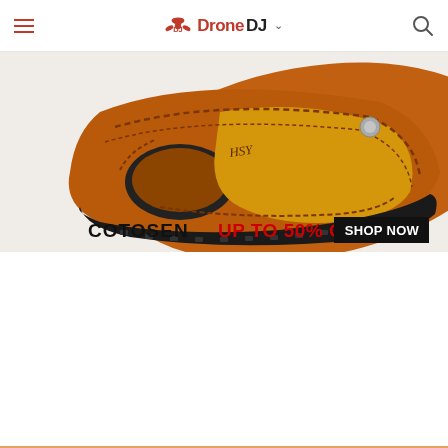DroneDJ
[Figure (photo): Advertisement banner for Cotosen showing a brown leather sandal/shoe with hand-stitching and 'HSY' branding, with text 'COTOSEN UP TO 50% OFF SHOP NOW']